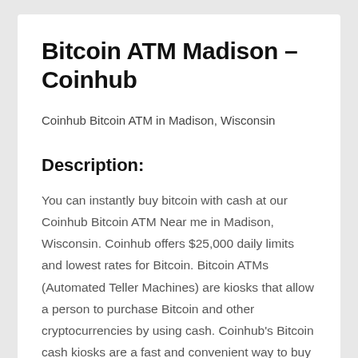Bitcoin ATM Madison – Coinhub
Coinhub Bitcoin ATM in Madison, Wisconsin
Description:
You can instantly buy bitcoin with cash at our Coinhub Bitcoin ATM Near me in Madison, Wisconsin. Coinhub offers $25,000 daily limits and lowest rates for Bitcoin. Bitcoin ATMs (Automated Teller Machines) are kiosks that allow a person to purchase Bitcoin and other cryptocurrencies by using cash. Coinhub's Bitcoin cash kiosks are a fast and convenient way to buy Bitcoin and have it delivered directly to your wallet in minutes. Coinhub Bitcoin machines are easy to use